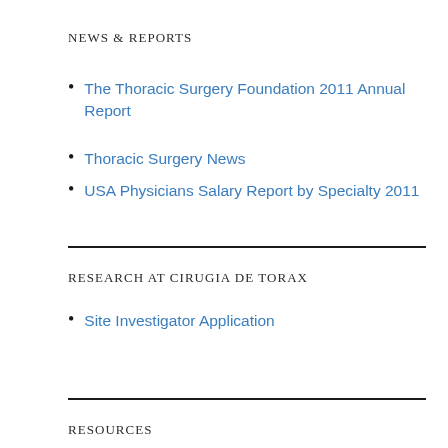NEWS & REPORTS
The Thoracic Surgery Foundation 2011 Annual Report
Thoracic Surgery News
USA Physicians Salary Report by Specialty 2011
RESEARCH AT CIRUGIA DE TORAX
Site Investigator Application
RESOURCES